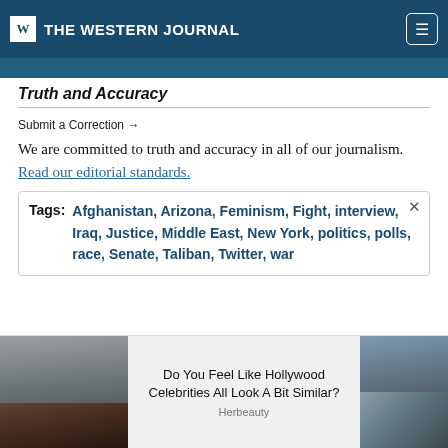THE WESTERN JOURNAL
Truth and Accuracy
Submit a Correction →
We are committed to truth and accuracy in all of our journalism. Read our editorial standards.
Tags: Afghanistan, Arizona, Feminism, Fight, interview, Iraq, Justice, Middle East, New York, politics, polls, race, Senate, Taliban, Twitter, war
[Figure (photo): Advertisement banner with celebrity photo on left, text in center reading 'Do You Feel Like Hollywood Celebrities All Look A Bit Similar? Herbeauty', and building photo on right]